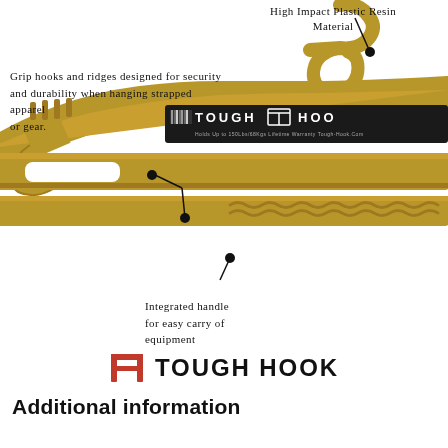[Figure (photo): Close-up photo of a tan/gold colored Tough Hook heavy-duty plastic hanger with black label reading 'TOUGH HOOK', grip ridges, integrated handle. Three annotation callout lines pointing to features: 'High Impact Plastic Resin Material' at top right, 'Grip hooks and ridges designed for security and durability when hanging strapped apparel or gear.' at left, and 'Integrated handle for easy carry of equipment' at bottom.]
High Impact Plastic Resin Material
Grip hooks and ridges designed for security and durability when hanging strapped apparel or gear.
Integrated handle for easy carry of equipment
[Figure (logo): Tough Hook logo with red stylized TH icon and bold black text 'TOUGH HOOK']
Additional information